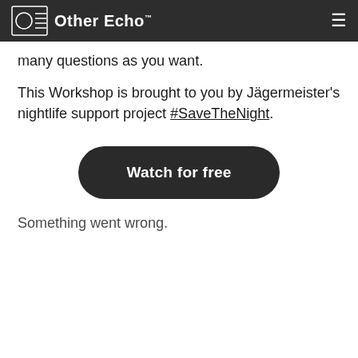Other Echo™
many questions as you want.
This Workshop is brought to you by Jägermeister's nightlife support project #SaveTheNight.
Watch for free
Something went wrong.